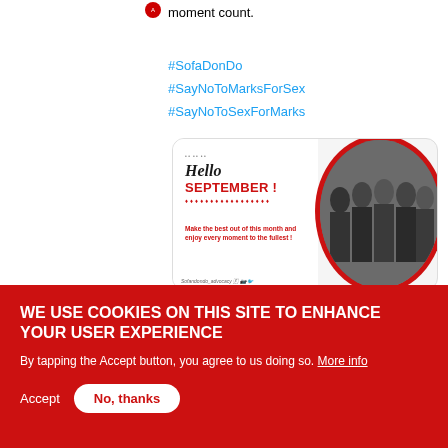moment count.
#SofaDonDo
#SayNoToMarksForSex
#SayNoToSexForMarks
[Figure (photo): Tweet image showing 'Hello September!' greeting card with a group photo of people in black shirts with red border circular cutout. Text reads: Make the best out of this month and enjoy every moment to the fullest! Social handles: Sofandondo_advocacy]
3 (likes icon)
WE USE COOKIES ON THIS SITE TO ENHANCE YOUR USER EXPERIENCE
By tapping the Accept button, you agree to us doing so. More info
Accept
No, thanks